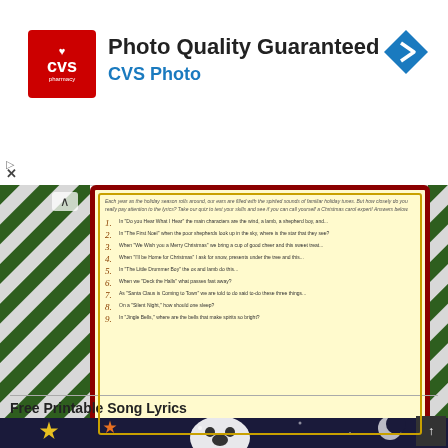[Figure (screenshot): CVS Photo advertisement banner with red logo, 'Photo Quality Guaranteed' title, and navigation arrow icon]
[Figure (photo): Christmas carol lyrics quiz card on green chevron background with yellow card listing 9 quiz questions about holiday song lyrics]
Free Printable Song Lyrics
[Figure (photo): Ghost decoration on dark night sky background with stars and moon, partial view]